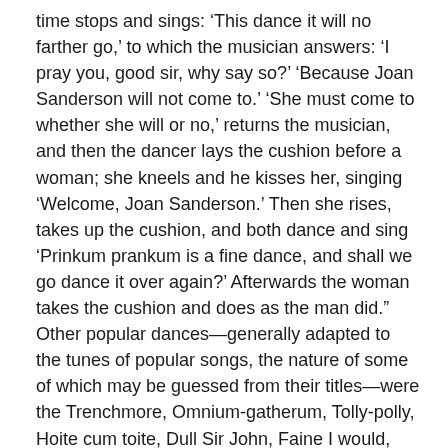time stops and sings: ‘This dance it will no farther go,’ to which the musician answers: ‘I pray you, good sir, why say so?’ ‘Because Joan Sanderson will not come to.’ ‘She must come to whether she will or no,’ returns the musician, and then the dancer lays the cushion before a woman; she kneels and he kisses her, singing ‘Welcome, Joan Sanderson.’ Then she rises, takes up the cushion, and both dance and sing ‘Prinkum prankum is a fine dance, and shall we go dance it over again?’ Afterwards the woman takes the cushion and does as the man did.” Other popular dances—generally adapted to the tunes of popular songs, the nature of some of which may be guessed from their titles—were the Trenchmore, Omnium-gatherum, Tolly-polly, Hoite cum toite, Dull Sir John, Faine I would, Sillinger, All in a Garden Green, An Old Man’s a Bed Full of Bones, If All the World were Paper, John, Come Kiss Me Now, Cuckholds All Awry, Green Sleeves